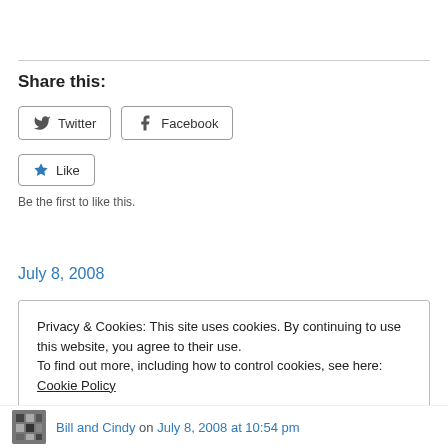Share this:
[Figure (other): Twitter social share button]
[Figure (other): Facebook social share button]
[Figure (other): Like button with star icon]
Be the first to like this.
July 8, 2008
Privacy & Cookies: This site uses cookies. By continuing to use this website, you agree to their use.
To find out more, including how to control cookies, see here: Cookie Policy
Close and accept
Bill and Cindy on July 8, 2008 at 10:54 pm